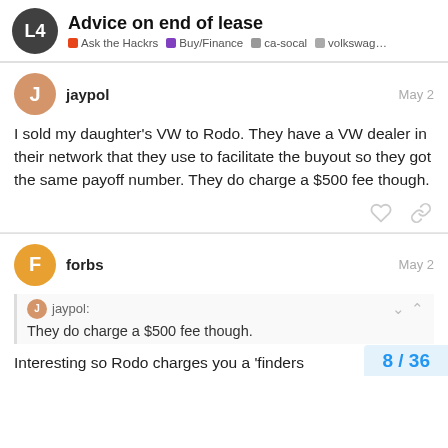Advice on end of lease | Ask the Hackrs | Buy/Finance | ca-socal | volkswag...
jaypol  May 2
I sold my daughter's VW to Rodo. They have a VW dealer in their network that they use to facilitate the buyout so they got the same payoff number. They do charge a $500 fee though.
forbs  May 2
jaypol: They do charge a $500 fee though.
Interesting so Rodo charges you a 'finders
8 / 36